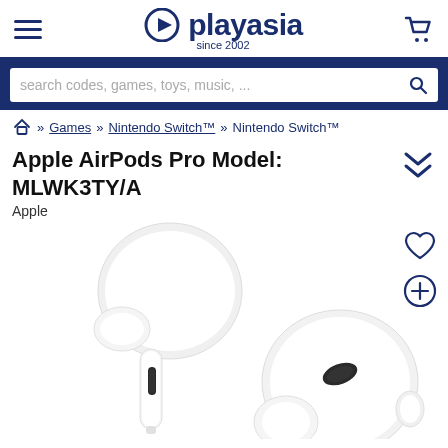playasia since 2002
search codes, games, toys, music, ...
» Games » Nintendo Switch™ » Nintendo Switch™
Apple AirPods Pro Model: MLWK3TY/A
Apple
[Figure (photo): Apple AirPods Pro earbuds, two white wireless earbuds with black speaker mesh, shown from an angle on white background]